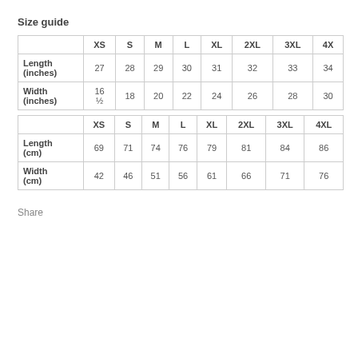Size guide
|  | XS | S | M | L | XL | 2XL | 3XL | 4X |
| --- | --- | --- | --- | --- | --- | --- | --- | --- |
| Length (inches) | 27 | 28 | 29 | 30 | 31 | 32 | 33 | 34 |
| Width (inches) | 16 ½ | 18 | 20 | 22 | 24 | 26 | 28 | 30 |
|  | XS | S | M | L | XL | 2XL | 3XL | 4XL |
| --- | --- | --- | --- | --- | --- | --- | --- | --- |
| Length (cm) | 69 | 71 | 74 | 76 | 79 | 81 | 84 | 86 |
| Width (cm) | 42 | 46 | 51 | 56 | 61 | 66 | 71 | 76 |
Share